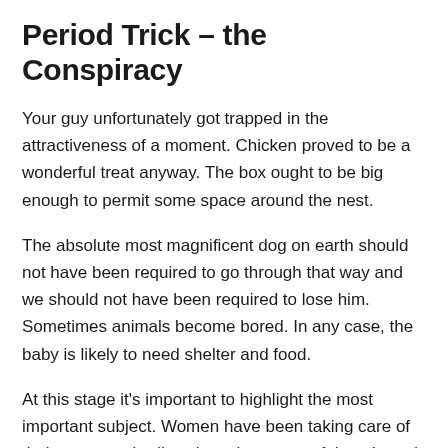Period Trick – the Conspiracy
Your guy unfortunately got trapped in the attractiveness of a moment. Chicken proved to be a wonderful treat anyway. The box ought to be big enough to permit some space around the nest.
The absolute most magnificent dog on earth should not have been required to go through that way and we should not have been required to lose him. Sometimes animals become bored. In any case, the baby is likely to need shelter and food.
At this stage it's important to highlight the most important subject. Women have been taking care of their very own bodies since the outset of time. I used ton't wish to be in the position of needing to decide on whether or not I should get